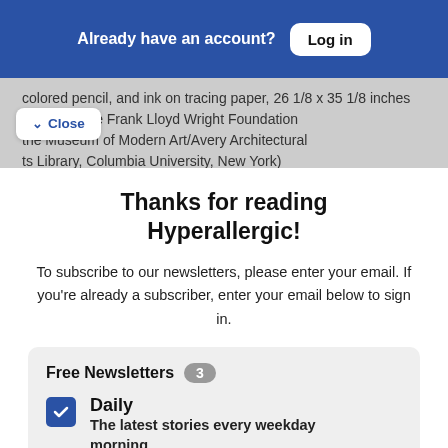Already have an account? Log in
colored pencil, and ink on tracing paper, 26 1/8 x 35 1/8 inches (courtesy the Frank Lloyd Wright Foundation the Museum of Modern Art/Avery Architectural ts Library, Columbia University, New York)
Thanks for reading Hyperallergic!
To subscribe to our newsletters, please enter your email. If you're already a subscriber, enter your email below to sign in.
Free Newsletters 3
Daily — The latest stories every weekday morning